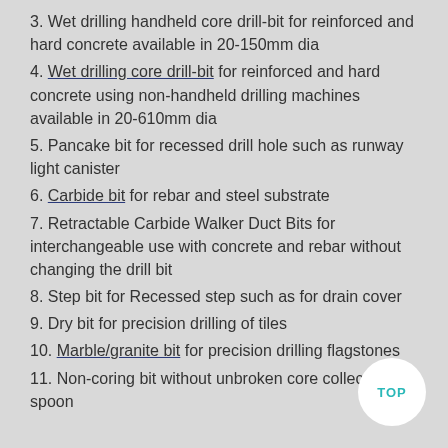3. Wet drilling handheld core drill-bit for reinforced and hard concrete available in 20-150mm dia
4. Wet drilling core drill-bit for reinforced and hard concrete using non-handheld drilling machines available in 20-610mm dia
5. Pancake bit for recessed drill hole such as runway light canister
6. Carbide bit for rebar and steel substrate
7. Retractable Carbide Walker Duct Bits for interchangeable use with concrete and rebar without changing the drill bit
8. Step bit for Recessed step such as for drain cover
9. Dry bit for precision drilling of tiles
10. Marble/granite bit for precision drilling flagstones
11. Non-coring bit without unbroken core collection spoon